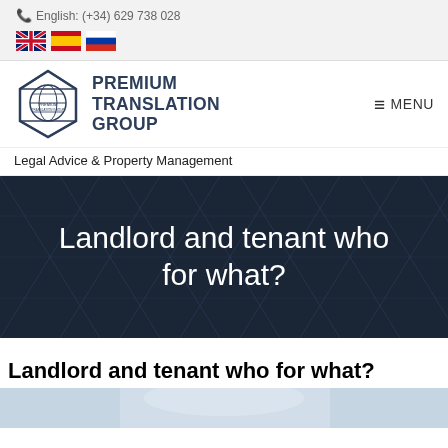English: (+34) 629 738 028
[Figure (logo): Flag icons for English (UK), Spanish, and Russian languages]
[Figure (logo): Premium Translation Group diamond logo with globe]
PREMIUM TRANSLATION GROUP
MENU
Legal Advice & Property Management
Landlord and tenant who for what?
Landlord and tenant who for what?
[Figure (photo): Partial photo at bottom of page, blurred background with light tones]